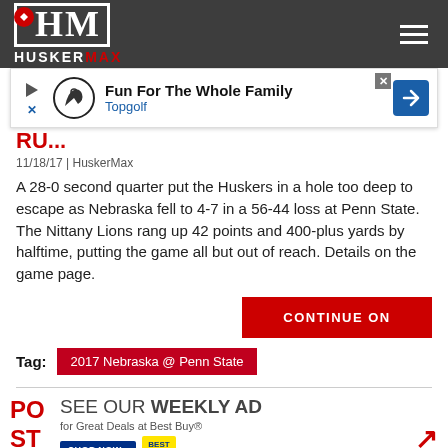HUSKERMAX
[Figure (infographic): Topgolf advertisement banner: Fun For The Whole Family - Topgolf]
RU...
11/18/17 | HuskerMax
A 28-0 second quarter put the Huskers in a hole too deep to escape as Nebraska fell to 4-7 in a 56-44 loss at Penn State. The Nittany Lions rang up 42 points and 400-plus yards by halftime, putting the game all but out of reach. Details on the game page.
CONTINUE ON
Tag: 2017 Nebraska @ Penn State
[Figure (infographic): Best Buy advertisement: SEE OUR WEEKLY AD for Great Deals at Best Buy - SHOP NOW button with Best Buy logo]